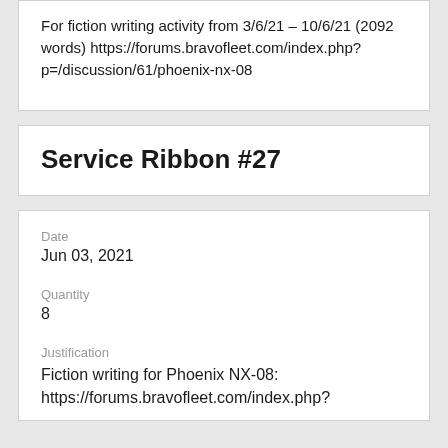For fiction writing activity from 3/6/21 – 10/6/21 (2092 words) https://forums.bravofleet.com/index.php?p=/discussion/61/phoenix-nx-08
Service Ribbon #27
Date
Jun 03, 2021
Quantity
8
Justification
Fiction writing for Phoenix NX-08: https://forums.bravofleet.com/index.php?